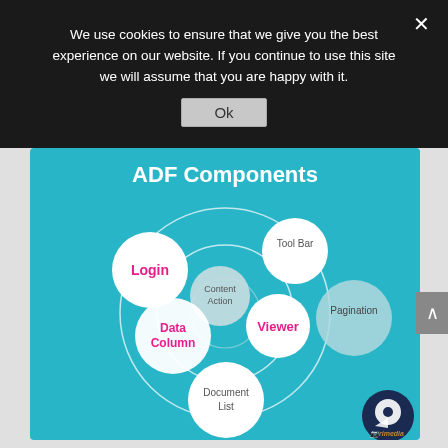We use cookies to ensure that we give you the best experience on our website. If you continue to use this site we will assume that you are happy with it.
[Figure (infographic): ADF Components diagram showing concentric circles with component nodes: Login (white circle, pink text), Tool Bar (white circle, gray text), Content Action (light gray circle, gray text), Viewer (white circle, pink text), Data Column (white circle, pink text), Pagination (light blue circle, gray text), Document List (white circle, gray text). Title: ADF Components in white text on teal background.]